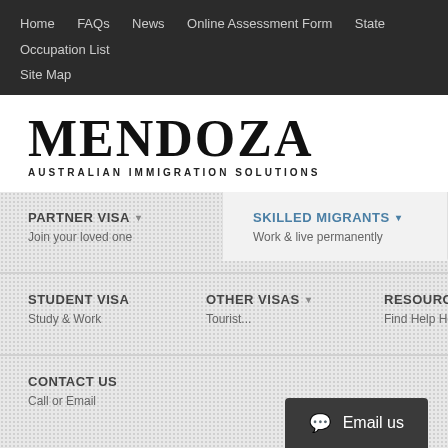Home  FAQs  News  Online Assessment Form  State Occupation List  Site Map
MENDOZA
AUSTRALIAN IMMIGRATION SOLUTIONS
PARTNER VISA ▾
Join your loved one
SKILLED MIGRANTS ▾
Work & live permanently
STUDENT VISA
Study & Work
OTHER VISAS ▾
Tourist...
RESOURCES ▾
Find Help Here
CONTACT US
Call or Email
Email us